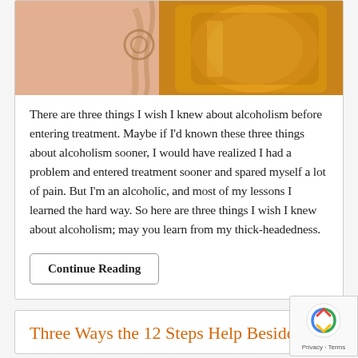[Figure (photo): Close-up photo of handcuffs and a beer mug filled with amber beer]
There are three things I wish I knew about alcoholism before entering treatment. Maybe if I'd known these three things about alcoholism sooner, I would have realized I had a problem and entered treatment sooner and spared myself a lot of pain. But I'm an alcoholic, and most of my lessons I learned the hard way. So here are three things I wish I knew about alcoholism; may you learn from my thick-headedness.
Continue Reading
Three Ways the 12 Steps Help Besides